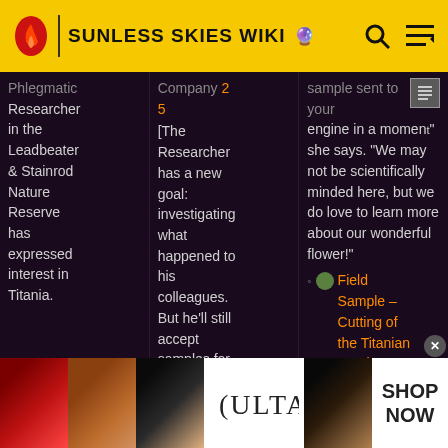SUNLESS SKIES WIKI
Phlegmatic Researcher in the Leadbeater & Stainrod Nature Reserve has expressed interest in Titania.
Company 2 5 [The Researcher has a new goal: investigating what happened to his colleagues. But he'll still accept samples for his research]
sample sent to your engine in a moment" she says. "We may not be scientifically minded here, but we do love to learn more about our wonderful flower!"
Field Sample – Cutting of the Titanian Petal = 2 [You have collected a cutting of
[Figure (screenshot): Advertisement banner for Ulta beauty products showing makeup images and 'SHOP NOW' text]